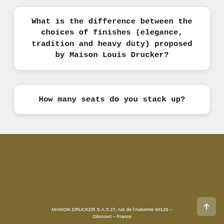What is the difference between the choices of finishes (elegance, tradition and heavy duty) proposed by Maison Louis Drucker?
How many seats do you stack up?
[Figure (logo): L. Drucker Paris logo with crossed wickerwork emblem and 'depuis 1885' tagline on dark gold background]
MAISON DRUCKER S.A.S 27, rue de l'Automne 60129 – Gilocourt – France